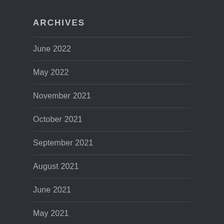ARCHIVES
June 2022
May 2022
November 2021
October 2021
September 2021
August 2021
June 2021
May 2021
April 2021